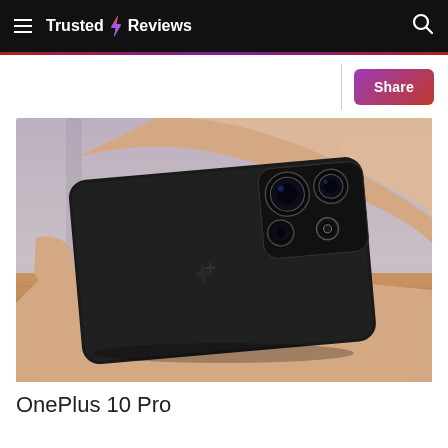Trusted Reviews
[Figure (photo): A hand holding a black OnePlus 10 Pro smartphone showing the rear camera module with multiple lenses, placed over a wooden surface. The person is wearing a yellow wristband.]
OnePlus 10 Pro